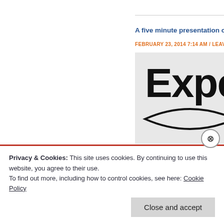A five minute presentation on fac…
FEBRUARY 23, 2014 7:14 AM / LEAVE A C…
[Figure (photo): Cropped photo showing bold text 'Expe...' on a whiteboard or sign, with a hand-drawn oval shape below]
Privacy & Cookies: This site uses cookies. By continuing to use this website, you agree to their use.
To find out more, including how to control cookies, see here: Cookie Policy
Close and accept